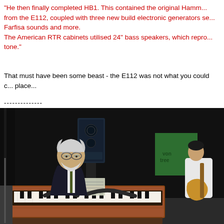"He then finally completed HB1. This contained the original Hamm... from the E112, coupled with three new build electronic generators se... Farfisa sounds and more. The American RTR cabinets utilised 24" bass speakers, which repro... tone."
That must have been some beast - the E112 was not what you could c... place...
--------------
[Figure (photo): An elderly man with white hair and beard wearing a dark suit plays a vintage Hammond organ on a stage. In the background, a person in a white shirt plays guitar, and there are speakers and a green banner visible.]